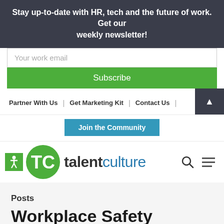Stay up-to-date with HR, tech and the future of work. Get our weekly newsletter!
Your work email
Subscribe
Partner With Us | Get Marketing Kit | Contact Us
Join the Community
[Figure (logo): TalentCulture logo — green TC circle with accessibility icon, brand name 'talentculture' in blue/dark text, search and hamburger menu icons]
Posts
Workplace Safety Reporting – How to